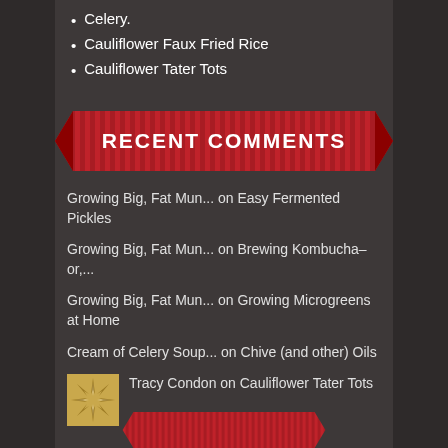Celery.
Cauliflower Faux Fried Rice
Cauliflower Tater Tots
RECENT COMMENTS
Growing Big, Fat Mun... on Easy Fermented Pickles
Growing Big, Fat Mun... on Brewing Kombucha–or,...
Growing Big, Fat Mun... on Growing Microgreens at Home
Cream of Celery Soup... on Chive (and other) Oils
Tracy Condon on Cauliflower Tater Tots